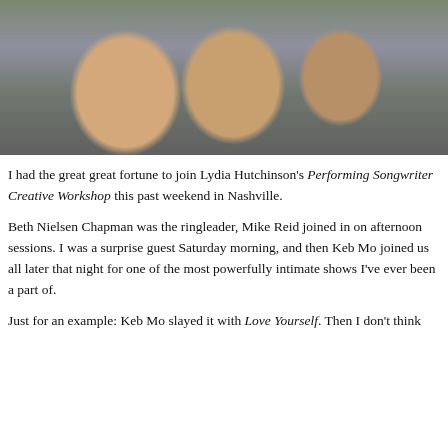[Figure (photo): Close-up photo of three people smiling, cropped to show faces and upper bodies, woman with curly brown hair on left, person in center, person in plaid shirt on right]
I had the great great fortune to join Lydia Hutchinson's Performing Songwriter Creative Workshop this past weekend in Nashville.
Beth Nielsen Chapman was the ringleader, Mike Reid joined in on afternoon sessions. I was a surprise guest Saturday morning, and then Keb Mo joined us all later that night for one of the most powerfully intimate shows I've ever been a part of.
Just for an example: Keb Mo slayed it with Love Yourself. Then I don't think